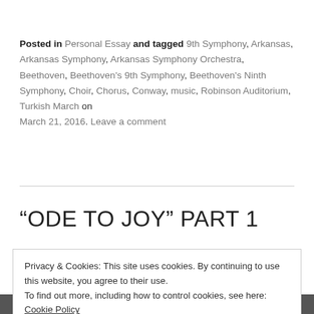Posted in Personal Essay and tagged 9th Symphony, Arkansas, Arkansas Symphony, Arkansas Symphony Orchestra, Beethoven, Beethoven's 9th Symphony, Beethoven's Ninth Symphony, Choir, Chorus, Conway, music, Robinson Auditorium, Turkish March on March 21, 2016. Leave a comment
“ODE TO JOY” PART 1
Privacy & Cookies: This site uses cookies. By continuing to use this website, you agree to their use.
To find out more, including how to control cookies, see here: Cookie Policy
Close and accept
[Figure (photo): Partial dark photo visible at the very bottom of the page]